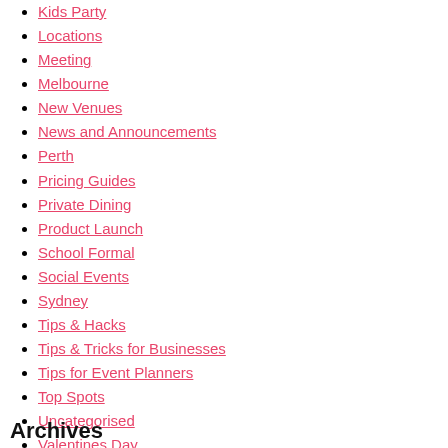Kids Party
Locations
Meeting
Melbourne
New Venues
News and Announcements
Perth
Pricing Guides
Private Dining
Product Launch
School Formal
Social Events
Sydney
Tips & Hacks
Tips & Tricks for Businesses
Tips for Event Planners
Top Spots
Uncategorised
Valentines Day
Venue Manager Guides
Venue Showcase
VenueNow Events
Wedding
Archives